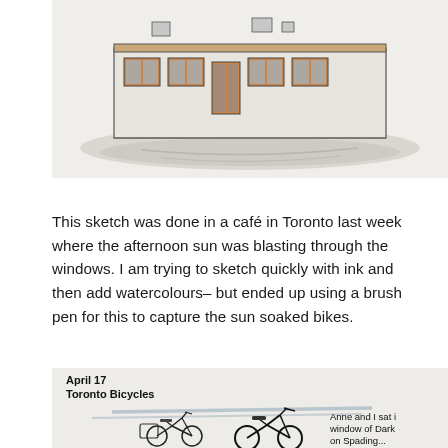[Figure (illustration): Watercolour and ink sketch of a building/storefront with orange-brown window frames, blue-grey windows, and a loose watercolour wash shadow beneath it.]
This sketch was done in a café in Toronto last week where the afternoon sun was blasting through the windows. I am trying to sketch quickly with ink and then add watercolours– but ended up using a brush pen for this to capture the sun soaked bikes.
[Figure (illustration): Ink and watercolour sketch of Toronto bicycles, dated April 17, labelled 'Toronto Bicycles'. Shows two bikes parked, with handwritten note reading 'Anne and I sat in window of Dark on Spading...'. Blue horizontal wash lines in background.]